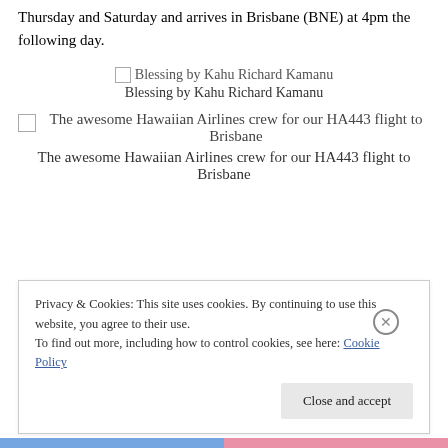Thursday and Saturday and arrives in Brisbane (BNE) at 4pm the following day.
[Figure (photo): Broken image placeholder for 'Blessing by Kahu Richard Kamanu']
Blessing by Kahu Richard Kamanu
[Figure (photo): Broken image placeholder for 'The awesome Hawaiian Airlines crew for our HA443 flight to Brisbane']
The awesome Hawaiian Airlines crew for our HA443 flight to Brisbane
Privacy & Cookies: This site uses cookies. By continuing to use this website, you agree to their use. To find out more, including how to control cookies, see here: Cookie Policy